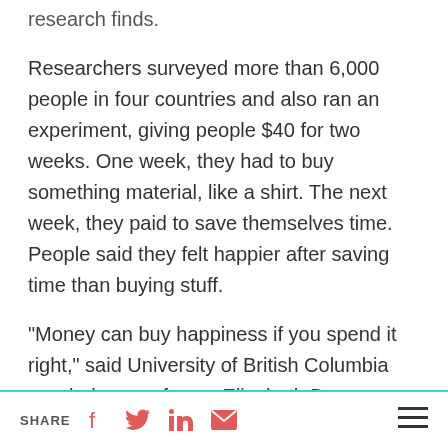research finds.
Researchers surveyed more than 6,000 people in four countries and also ran an experiment, giving people $40 for two weeks. One week, they had to buy something material, like a shirt. The next week, they paid to save themselves time. People said they felt happier after saving time than buying stuff.
“Money can buy happiness if you spend it right,” said University of British Columbia psychology professor Elizabeth Dunn, co-author of a study in Monday’s Proceedings of the National Academy of Sciences
SHARE